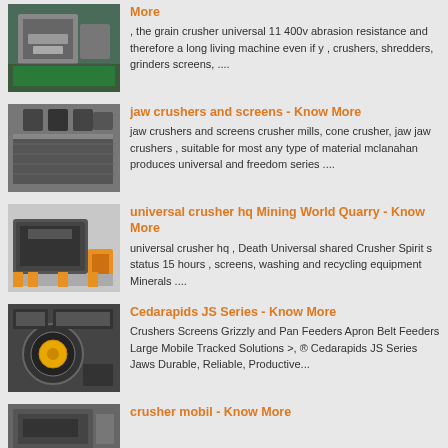[Figure (photo): Industrial grain crusher machinery in a factory setting]
More
, the grain crusher universal 11 400v abrasion resistance and therefore a long living machine even if y , crushers, shredders, grinders screens, ....
[Figure (photo): Jaw crusher and screens machinery]
jaw crushers and screens - Know More
jaw crushers and screens crusher mills, cone crusher, jaw jaw crushers , suitable for most any type of material mclanahan produces universal and freedom series ....
[Figure (photo): Universal crusher hq mining world quarry equipment]
universal crusher hq Mining World Quarry - Know More
universal crusher hq , Death Universal shared Crusher Spirit s status 15 hours , screens, washing and recycling equipment Minerals ....
[Figure (photo): Cedarapids JS Series jaw crusher]
Cedarapids JS Series - Know More
Crushers Screens Grizzly and Pan Feeders Apron Belt Feeders Large Mobile Tracked Solutions >, ® Cedarapids JS Series Jaws Durable, Reliable, Productive...
[Figure (photo): Crusher mobile equipment]
crusher mobil - Know More